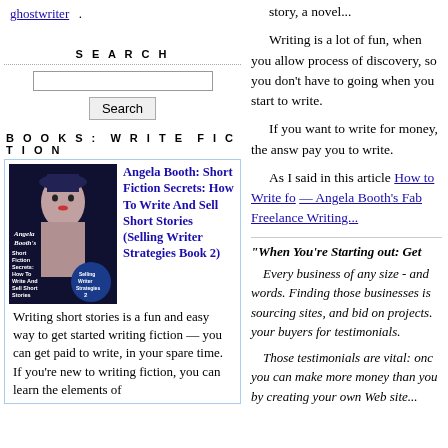ghostwriter .
SEARCH
Search
BOOKS: WRITE FICTION
[Figure (illustration): Book cover: Angela Booth's Short Fiction Secrets: How To Write And Sell Short Stories (Selling Writer Strategies Book 2)]
Angela Booth: Short Fiction Secrets: How To Write And Sell Short Stories (Selling Writer Strategies Book 2)
Writing short stories is a fun and easy way to get started writing fiction — you can get paid to write, in your spare time. If you're new to writing fiction, you can learn the elements of
story, a novel...
Writing is a lot of fun, when you allow process of discovery, so you don't have to going when you start to write.
If you want to write for money, the answ pay you to write.
As I said in this article How to Write fo — Angela Booth's Fab Freelance Writing...
"When You're Starting out: Get
Every business of any size - and words. Finding those businesses is sourcing sites, and bid on projects. your buyers for testimonials.
Those testimonials are vital: onc you can make more money than you by creating your own Web site...